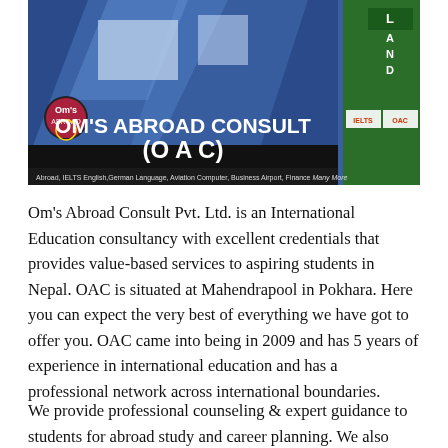[Figure (photo): Exterior photograph of Om's Abroad Consult (OAC) building with glass facade, showing signage with 'OM'S ABROAD CONSULT (O A C)' and logos. Green signboard visible on right side. Bottom banner shows services including 'Abroad', 'English', 'Computer', 'Many More'.]
Om's Abroad Consult Pvt. Ltd. is an International Education consultancy with excellent credentials that provides value-based services to aspiring students in Nepal. OAC is situated at Mahendrapool in Pokhara. Here you can expect the very best of everything we have got to offer you. OAC came into being in 2009 and has 5 years of experience in international education and has a professional network across international boundaries.
We provide professional counseling  & expert guidance to students for abroad study and career planning. We also